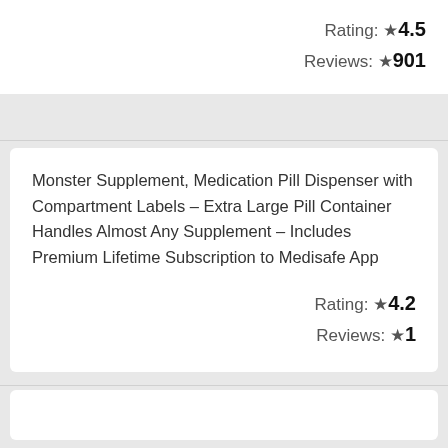Rating: ★4.5
Reviews: ★901
Monster Supplement, Medication Pill Dispenser with Compartment Labels – Extra Large Pill Container Handles Almost Any Supplement – Includes Premium Lifetime Subscription to Medisafe App
Rating: ★4.2
Reviews: ★1